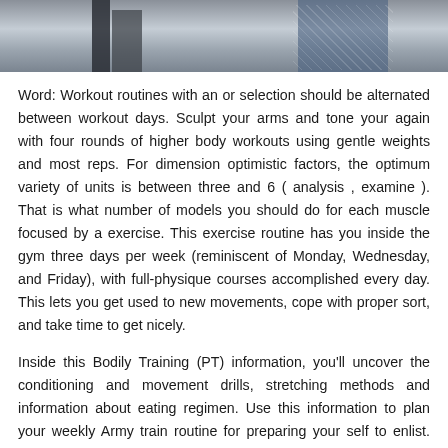[Figure (photo): Partial photo of gym equipment or workout setting, cropped at top of page]
Word: Workout routines with an or selection should be alternated between workout days. Sculpt your arms and tone your again with four rounds of higher body workouts using gentle weights and most reps. For dimension optimistic factors, the optimum variety of units is between three and 6 ( analysis , examine ). That is what number of models you should do for each muscle focused by a exercise. This exercise routine has you inside the gym three days per week (reminiscent of Monday, Wednesday, and Friday), with full-physique courses accomplished every day. This lets you get used to new movements, cope with proper sort, and take time to get nicely.
Inside this Bodily Training (PT) information, you'll uncover the conditioning and movement drills, stretching methods and information about eating regimen. Use this information to plan your weekly Army train routine for preparing your self to enlist. How many situations per